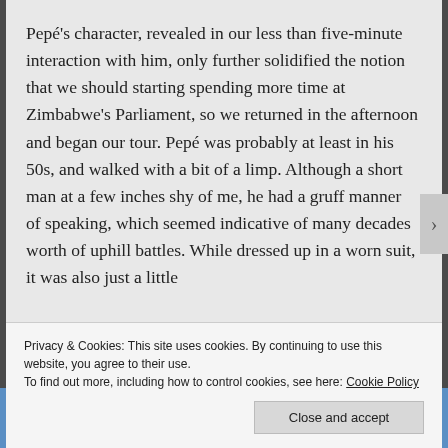Pepé's character, revealed in our less than five-minute interaction with him, only further solidified the notion that we should starting spending more time at Zimbabwe's Parliament, so we returned in the afternoon and began our tour. Pepé was probably at least in his 50s, and walked with a bit of a limp. Although a short man at a few inches shy of me, he had a gruff manner of speaking, which seemed indicative of many decades worth of uphill battles. While dressed up in a worn suit, it was also just a little
Privacy & Cookies: This site uses cookies. By continuing to use this website, you agree to their use.
To find out more, including how to control cookies, see here: Cookie Policy
Close and accept